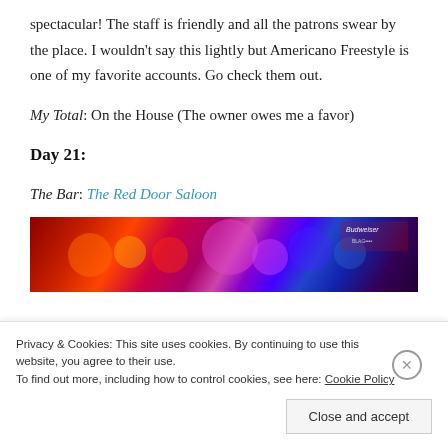spectacular! The staff is friendly and all the patrons swear by the place. I wouldn't say this lightly but Americano Freestyle is one of my favorite accounts. Go check them out.
My Total: On the House (The owner owes me a favor)
Day 21:
The Bar: The Red Door Saloon
[Figure (photo): Photo of The Red Door Saloon interior showing colorful neon bar lights in red, pink, and purple tones with a Budweiser sign visible]
Privacy & Cookies: This site uses cookies. By continuing to use this website, you agree to their use.
To find out more, including how to control cookies, see here: Cookie Policy
Close and accept